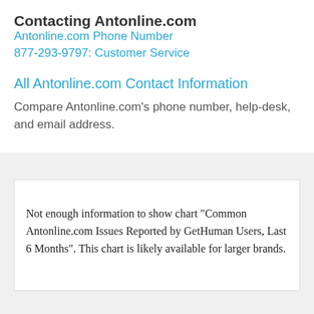Contacting Antonline.com
Antonline.com Phone Number
877-293-9797: Customer Service
All Antonline.com Contact Information
Compare Antonline.com's phone number, help-desk, and email address.
Not enough information to show chart "Common Antonline.com Issues Reported by GetHuman Users, Last 6 Months". This chart is likely available for larger brands.